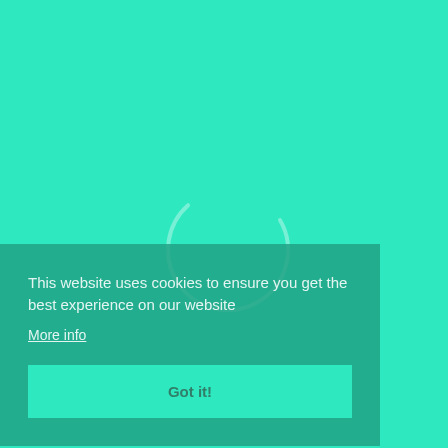[Figure (other): Spinning loading circle/arc graphic rendered in semi-transparent white on a teal/mint green background]
This website uses cookies to ensure you get the best experience on our website
More info
Got it!